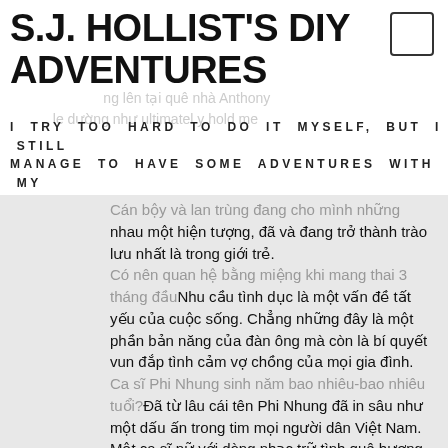S.J. HOLLIST'S DIY ADVENTURES
I TRY TOO HARD TO DO IT MYSELF, BUT I STILL MANAGE TO HAVE SOME ADVENTURES WITH MY FAMILY.
nhau một hiện tượng, đã và đang trở thành trào lưu nhất là trong giới trẻ. Có nên quan hệ bằng miệng khi mang thai 3 tháng đầuNhu cầu tình dục là một vấn đề tất yếu của cuộc sống. Chẳng những đây là một phần bản năng của đàn ông mà còn là bí quyết vun đắp tình cảm vợ chồng của mọi gia đình. Ca sĩ Phi Nhung sinh năm bao nhiêu-bao nhiêu tuổi?Đã từ lâu cái tên Phi Nhung đã in sâu như một dấu ấn trong tim mọi người dân Việt Nam. Một ca sĩ nữ với dòng nhạc trữ tình quê hương với những bài hát đi sâu vào lòng người Những câu nói hay nhất về tình yêu và cuộc sống trên facebookBạn là một người lạc quan, vui vẻ,